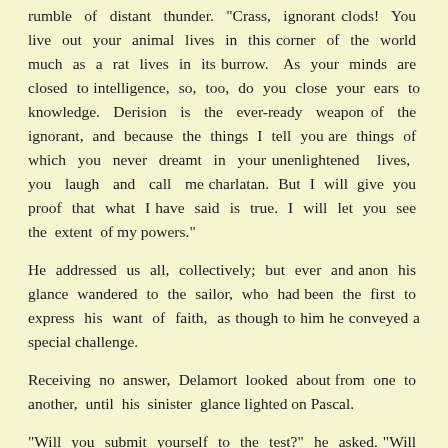rumble of distant thunder. "Crass, ignorant clods! You live out your animal lives in this corner of the world much as a rat lives in its burrow. As your minds are closed to intelligence, so, too, do you close your ears to knowledge. Derision is the ever-ready weapon of the ignorant, and because the things I tell you are things of which you never dreamt in your unenlightened lives, you laugh and call me charlatan. But I will give you proof that what I have said is true. I will let you see the extent of my powers."
He addressed us all, collectively; but ever and anon his glance wandered to the sailor, who had been the first to express his want of faith, as though to him he conveyed a special challenge.
Receiving no answer, Delamort looked about from one to another, until his sinister glance lighted on Pascal.
"Will you submit yourself to the test?" he asked. "Will you let me summon your brother's spirit for you?"